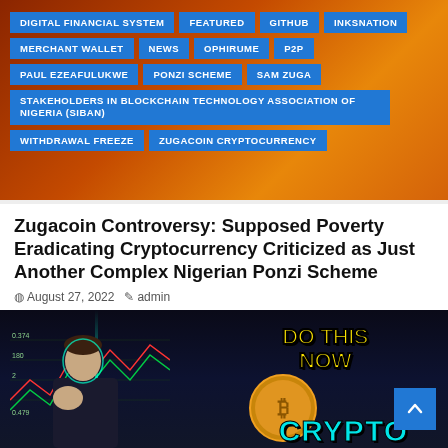[Figure (photo): Tag cloud over a warm-toned sunset background image. Tags include: DIGITAL FINANCIAL SYSTEM, FEATURED, GITHUB, INKSNATION, MERCHANT WALLET, NEWS, OPHIRUME, P2P, PAUL EZEAFULUKWE, PONZI SCHEME, SAM ZUGA, STAKEHOLDERS IN BLOCKCHAIN TECHNOLOGY ASSOCIATION OF NIGERIA (SIBAN), WITHDRAWAL FREEZE, ZUGACOIN CRYPTOCURRENCY]
Zugacoin Controversy: Supposed Poverty Eradicating Cryptocurrency Criticized as Just Another Complex Nigerian Ponzi Scheme
August 27, 2022   admin
[Figure (photo): Thumbnail image of a man looking concerned, with stock charts in background, text 'DO THIS NOW' in yellow and 'CRYPTO' in cyan at bottom, with a bitcoin coin visible]